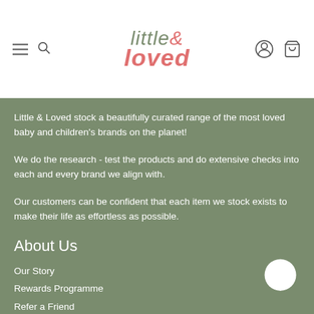little & loved — navigation header with hamburger, search, account, and cart icons
Little & Loved stock a beautifully curated range of the most loved baby and children's brands on the planet!
We do the research - test the products and do extensive checks into each and every brand we align with.
Our customers can be confident that each item we stock exists to make their life as effortless as possible.
About Us
Our Story
Rewards Programme
Refer a Friend
Contact us
Create a Wishlist